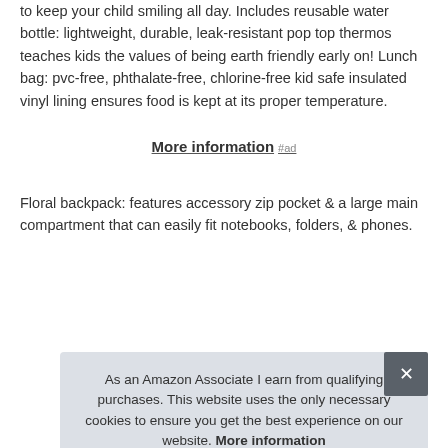to keep your child smiling all day. Includes reusable water bottle: lightweight, durable, leak-resistant pop top thermos teaches kids the values of being earth friendly early on! Lunch bag: pvc-free, phthalate-free, chlorine-free kid safe insulated vinyl lining ensures food is kept at its proper temperature.
More information #ad
Floral backpack: features accessory zip pocket & a large main compartment that can easily fit notebooks, folders, & phones.
| Brand | Value |
| --- | --- |
| Brand | Trail maker #ad |
| P |  |
As an Amazon Associate I earn from qualifying purchases. This website uses the only necessary cookies to ensure you get the best experience on our website. More information